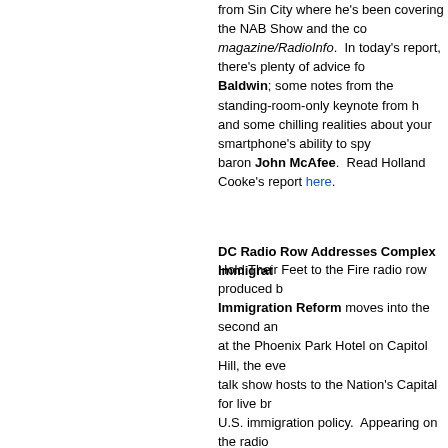from Sin City where he's been covering the NAB Show and the co... magazine/RadioInfo. In today's report, there's plenty of advice fo... Baldwin; some notes from the standing-room-only keynote from h... and some chilling realities about your smartphone's ability to spy... baron John McAfee. Read Holland Cooke's report here.
DC Radio Row Addresses Complex Immigrat...
Hold Their Feet to the Fire radio row produced b... Immigration Reform moves into the second an... at the Phoenix Park Hotel on Capitol Hill, the eve... talk show hosts to the Nation's Capital for live br... U.S. immigration policy. Appearing on the radio ... Congress, law enforcement officials, experts, ac... along the border. Attending the event and appea... shows discussing talk radio's role in the immigra... Amendment component is TALKERS magazine...
From the scene in Washington Harrison says this year's radio row was an interesting blend of well-known hosts and newcomers to the scene. "Everyone with whom I spoke on air was extremely thoughtful and solutions-oriented in dealing with this complex and sensitive issue." Harrison (right) is pictured here with WFTL, Fort Lauderdale personality Joyce Kaufman (center) and KXL, Portland and Compass Media Networks-syndicated host Lars Larson (left).
Nielsen Audio Releases Third Round of March 2...